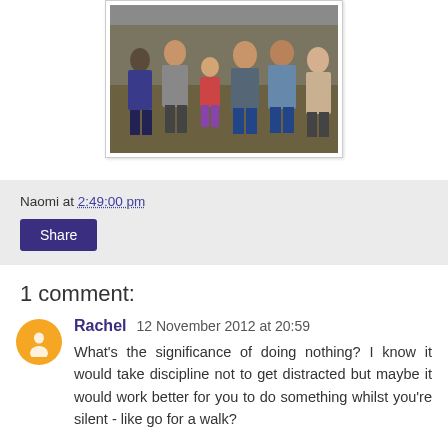[Figure (photo): Group photo of several people sitting together outdoors]
Naomi at 2:49:00 pm
Share
1 comment:
Rachel  12 November 2012 at 20:59
What's the significance of doing nothing? I know it would take discipline not to get distracted but maybe it would work better for you to do something whilst you're silent - like go for a walk?

I'm just thinking out loud here - not sure what is right, but just thinking that we're all different and we don't all have to